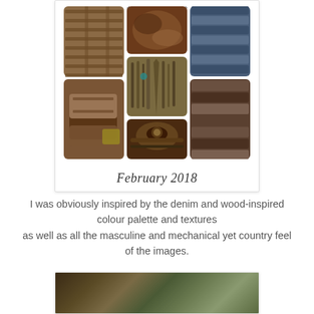[Figure (photo): A Pinterest-style mood board card labeled 'February 2018' featuring a collage of rustic, masculine images: wooden shelves/furniture, organic brown textures, folded denim fabric, vintage tools laid on wood, old travel trunks/boxes, weathered wood planks, and a leather harness/belt. The card has a white background with a cursive 'February 2018' label at the bottom.]
I was obviously inspired by the denim and wood-inspired colour palette and textures as well as all the masculine and mechanical yet country feel of the images.
[Figure (photo): A partially visible image at the bottom of the page showing what appears to be natural/organic materials on a wooden surface — possibly succulents or plant material with rope/twine on rustic wood.]